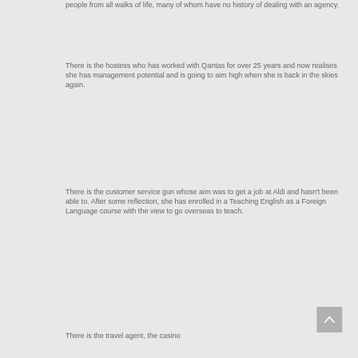people from all walks of life, many of whom have no history of dealing with an agency.
There is the hostess who has worked with Qantas for over 25 years and now realises she has management potential and is going to aim high when she is back in the skies again.
There is the customer service gun whose aim was to get a job at Aldi and hasn't been able to. After some reflection, she has enrolled in a Teaching English as a Foreign Language course with the view to go overseas to teach.
There is the travel agent, the casino